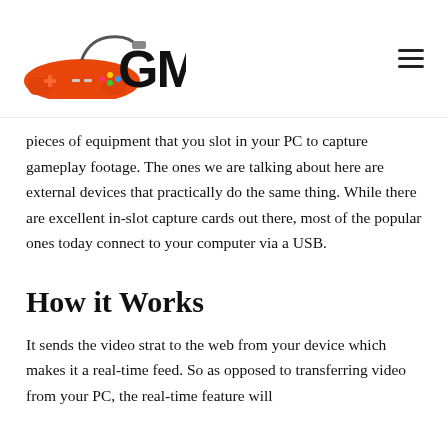GM
pieces of equipment that you slot in your PC to capture gameplay footage. The ones we are talking about here are external devices that practically do the same thing. While there are excellent in-slot capture cards out there, most of the popular ones today connect to your computer via a USB.
How it Works
It sends the video strat to the web from your device which makes it a real-time feed. So as opposed to transferring video from your PC, the real-time feature will